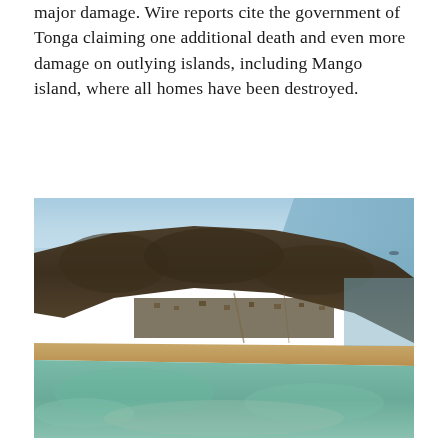major damage. Wire reports cite the government of Tonga claiming one additional death and even more damage on outlying islands, including Mango island, where all homes have been destroyed.
[Figure (photo): Aerial photograph of Mango island, Tonga, showing ash-covered vegetation, scattered buildings, a sandy beach shoreline, and surrounding turquoise ocean water. The island appears heavily affected by volcanic ash fallout.]